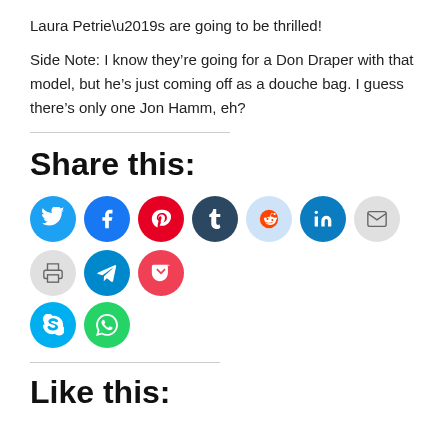Laura Petrie’s are going to be thrilled!
Side Note: I know they’re going for a Don Draper with that model, but he’s just coming off as a douche bag. I guess there’s only one Jon Hamm, eh?
Share this:
[Figure (infographic): Row of social media icon circles: Twitter (blue), Facebook (blue), Pinterest (red), Tumblr (dark navy), Reddit (light blue), LinkedIn (teal), Email (light gray), Print (light gray), Telegram (blue), Pocket (red); second row: Skype (cyan), WhatsApp (green)]
Like this: